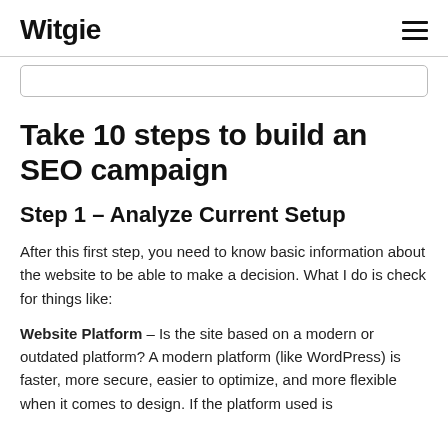Witgie
Take 10 steps to build an SEO campaign
Step 1 – Analyze Current Setup
After this first step, you need to know basic information about the website to be able to make a decision. What I do is check for things like:
Website Platform – Is the site based on a modern or outdated platform? A modern platform (like WordPress) is faster, more secure, easier to optimize, and more flexible when it comes to design. If the platform used is